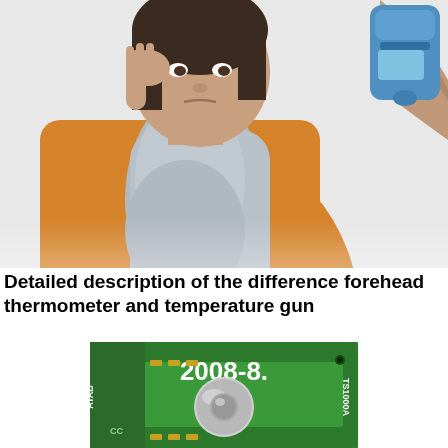[Figure (photo): An older woman in an orange sweater and gray scarf holds her head with one hand while another person holds a digital ear/temporal thermometer to the side of her head. White background.]
Detailed description of the difference forehead thermometer and temperature gun
[Figure (photo): Close-up of a green circuit board/PCB labeled '2008-8.' and 'ATAD' on the left, with 'TS1000A' on the right, featuring a circular metallic infrared sensor component in the center.]